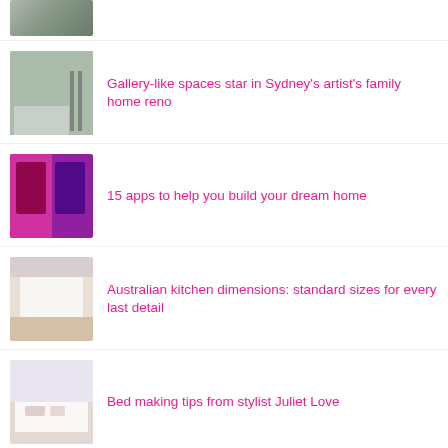[Figure (photo): Thumbnail image of a room interior, partially visible at top]
[Figure (photo): Gallery-like living space with large windows and white rug]
Gallery-like spaces star in Sydney's artist's family home reno
[Figure (photo): Two smartphone screens showing app interfaces with dark backgrounds]
15 apps to help you build your dream home
[Figure (photo): Bright kitchen or room with light wood floor]
Australian kitchen dimensions: standard sizes for every last detail
[Figure (photo): White bed with pillows and soft bedding]
Bed making tips from stylist Juliet Love